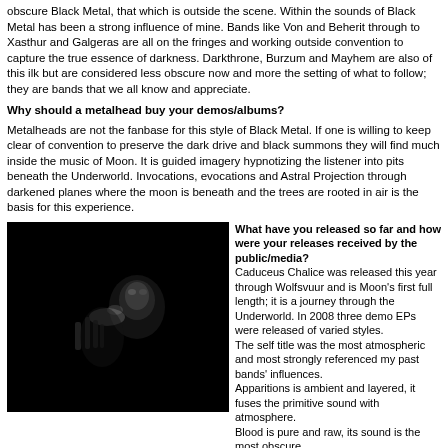obscure Black Metal, that which is outside the scene. Within the sounds of Black Metal has been a strong influence of mine. Bands like Von and Beherit through to Xasthur and Galgeras are all on the fringes and working outside convention to capture the true essence of darkness. Darkthrone, Burzum and Mayhem are also of this ilk but are considered less obscure now and more the setting of what to follow; they are bands that we all know and appreciate.
Why should a metalhead buy your demos/albums?
Metalheads are not the fanbase for this style of Black Metal. If one is willing to keep clear of convention to preserve the dark drive and black summons they will find much inside the music of Moon. It is guided imagery hypnotizing the listener into pits beneath the Underworld. Invocations, evocations and Astral Projection through darkened planes where the moon is beneath and the trees are rooted in air is the basis for this experience.
[Figure (photo): Dark/black atmospheric photo showing a figure or mask-like face in near-total darkness, black metal aesthetic]
What have you released so far and how were your releases received by the public/media? Caduceus Chalice was released this year through Wolfsvuur and is Moon's first full length; it is a journey through the Underworld. In 2008 three demo EPs were released of varied styles. The self title was the most atmospheric and most strongly referenced my past bands' influences. Apparitions is ambient and layered, it fuses the primitive sound with atmosphere. Blood is pure and raw, its sound is the most obscure. The early demo releases sparked interest enough to put back orders on the full length. Its limited number of copies have been going fast. A split was released through Fall of Nature which demonstrated the diversity in Black Metal and another through Svartgalgh in early 2008. The full length is Moon's greatest example of the direction it is headed, it has reached a level of maturity in composition and what it aims to